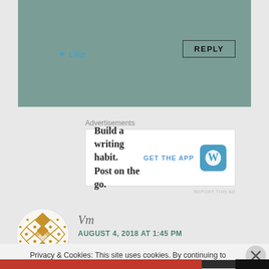[Figure (screenshot): Top portion of a blog comment area with teal/sage green background showing a Like button with blue star and a REPLY button with border]
Like
REPLY
Advertisements
[Figure (screenshot): WordPress advertisement banner: Build a writing habit. Post on the go. GET THE APP with WordPress logo]
REPORT THIS AD
[Figure (photo): Geometric diamond/rhombus pattern avatar for user Vm in gold and white]
Vm
AUGUST 4, 2018 AT 1:45 PM
I'm currently in escrow. This morning I found a dead dove
Privacy & Cookies: This site uses cookies. By continuing to use this website, you agree to their use.
To find out more, including how to control cookies, see here: Cookie Policy
Close and accept